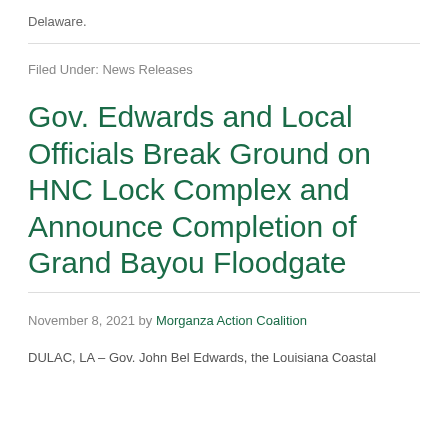Delaware.
Filed Under: News Releases
Gov. Edwards and Local Officials Break Ground on HNC Lock Complex and Announce Completion of Grand Bayou Floodgate
November 8, 2021 by Morganza Action Coalition
DULAC, LA – Gov. John Bel Edwards, the Louisiana Coastal